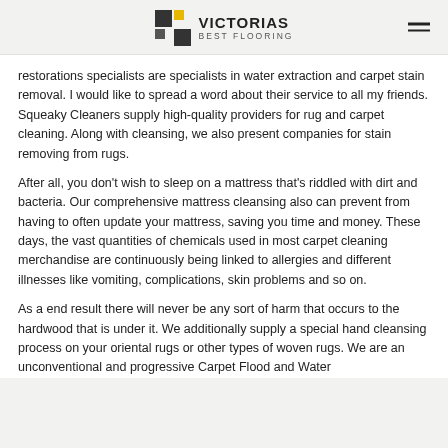VICTORIAS BEST FLOORING
restorations specialists are specialists in water extraction and carpet stain removal. I would like to spread a word about their service to all my friends. Squeaky Cleaners supply high-quality providers for rug and carpet cleaning. Along with cleansing, we also present companies for stain removing from rugs.
After all, you don't wish to sleep on a mattress that's riddled with dirt and bacteria. Our comprehensive mattress cleansing also can prevent from having to often update your mattress, saving you time and money. These days, the vast quantities of chemicals used in most carpet cleaning merchandise are continuously being linked to allergies and different illnesses like vomiting, complications, skin problems and so on.
As a end result there will never be any sort of harm that occurs to the hardwood that is under it. We additionally supply a special hand cleansing process on your oriental rugs or other types of woven rugs. We are an unconventional and progressive Carpet Flood and Water